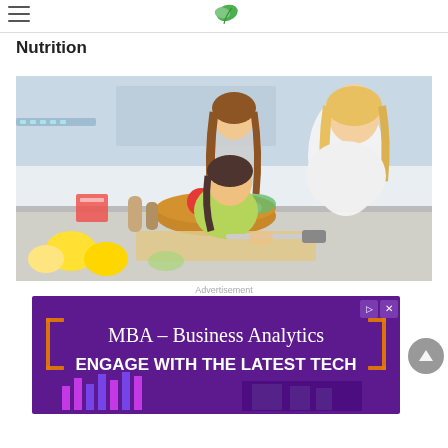Nutrition
[Figure (photo): A woman and two girls (mother and daughters) cooking together in a bright modern kitchen, with vegetables, tomatoes, lemons, and a wooden cutting board on the counter. The young girl is cutting a tomato while smiling.]
Advertisement
[Figure (screenshot): Advertisement banner with purple background reading 'MBA – Business Analytics' and 'ENGAGE WITH THE LATEST TECH' in white bold text, with orange bracket decorations and a bar chart graphic at the bottom.]